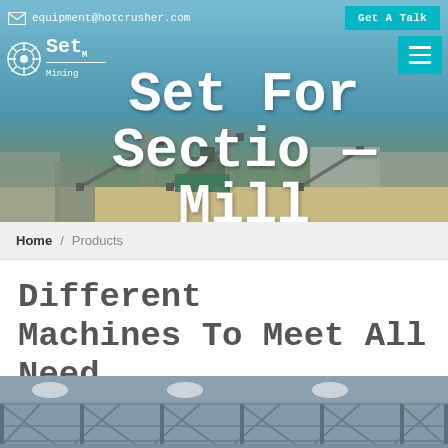equipment@hotcrusher.com  Get A Talk
[Figure (screenshot): Mining equipment/plant facility hero banner image with conveyor belts and processing equipment against a sky background]
Set For Section Mill
Home / Products
Different Machines To Meet All Need
[Figure (photo): Interior of industrial warehouse/factory showing steel roof trusses and structure]